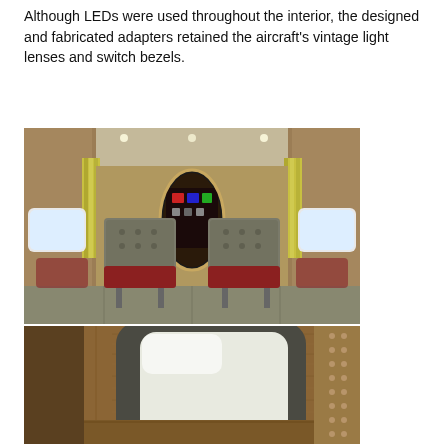Although LEDs were used throughout the interior, the designed and fabricated adapters retained the aircraft's vintage light lenses and switch bezels.
[Figure (photo): Interior view of a vintage aircraft cabin showing two gray tufted leather seats facing forward toward the cockpit visible through an oval doorway, wood-paneled walls with yellow curtains, recessed LED ceiling lights, and red seat bases.]
[Figure (photo): Close-up detail of the aircraft interior showing wood-paneled walls and cabinetry with riveted metal trim, a rounded rectangular window opening with dark gray surround, and decorative wood-grain panel texture.]